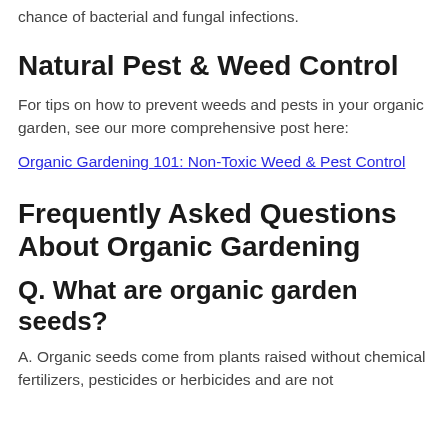chance of bacterial and fungal infections.
Natural Pest & Weed Control
For tips on how to prevent weeds and pests in your organic garden, see our more comprehensive post here:
Organic Gardening 101: Non-Toxic Weed & Pest Control
Frequently Asked Questions About Organic Gardening
Q. What are organic garden seeds?
A. Organic seeds come from plants raised without chemical fertilizers, pesticides or herbicides and are not